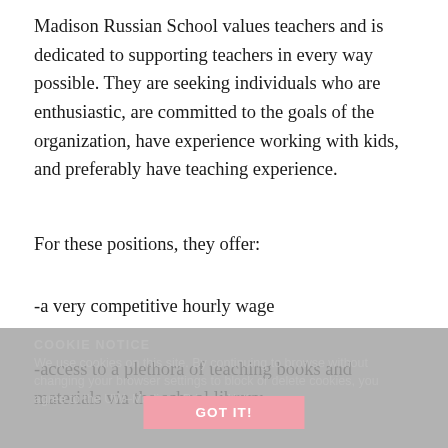Madison Russian School values teachers and is dedicated to supporting teachers in every way possible. They are seeking individuals who are enthusiastic, are committed to the goals of the organization, have experience working with kids, and preferably have teaching experience.
For these positions, they offer:
-a very competitive hourly wage
-access to a plethora of teaching books and materials via the school library
-the opportunity to be a part of Russian cultural events
-a community of experienced, supportive teachers and administrators